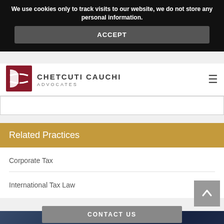We use cookies only to track visits to our website, we do not store any personal information.
ACCEPT
[Figure (logo): Chetcuti Cauchi Advocates logo with stylized red and white geometric symbol]
CHETCUTI CAUCHI ADVOCATES
Related Practices
Corporate Tax
International Tax Law
CONTACT US